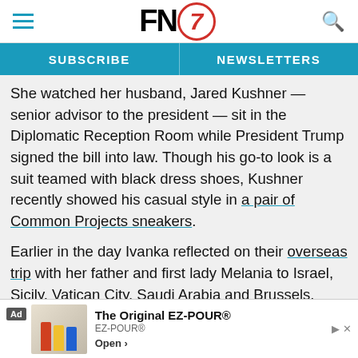FN7 logo, hamburger menu, search icon
SUBSCRIBE | NEWSLETTERS
She watched her husband, Jared Kushner — senior advisor to the president — sit in the Diplomatic Reception Room while President Trump signed the bill into law. Though his go-to look is a suit teamed with black dress shoes, Kushner recently showed his casual style in a pair of Common Projects sneakers.
Earlier in the day Ivanka reflected on their overseas trip with her father and first lady Melania to Israel, Sicily, Vatican City, Saudi Arabia and Brussels.
[Figure (photo): Photo of a person, partially visible, dark background]
Ad — The Original EZ-POUR® — EZ-POUR® — Open